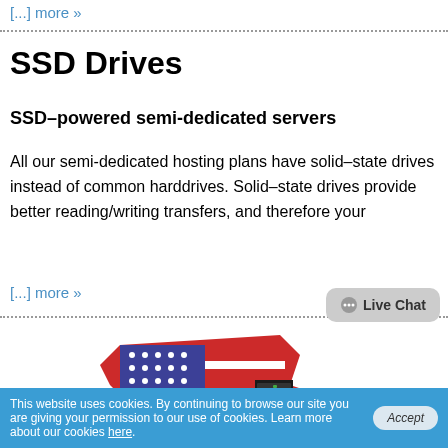[...] more »
SSD Drives
SSD–powered semi-dedicated servers
All our semi-dedicated hosting plans have solid–state drives instead of common harddrives. Solid–state drives provide better reading/writing transfers, and therefore your
[...] more »
[Figure (illustration): US map with American flag overlay and server rack image]
Live Chat
This website uses cookies. By continuing to browse our site you are giving your permission to our use of cookies. Learn more about our cookies here.